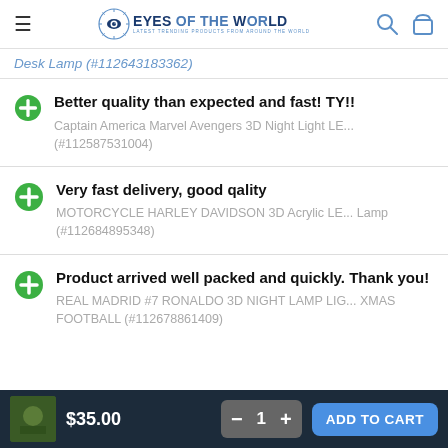Eyes of the World
Desk Lamp (#112643183362)
Better quality than expected and fast! TY!! — Captain America Marvel Avengers 3D Night Light LED (#112587531004)
Very fast delivery, good qality — MOTORCYCLE HARLEY DAVIDSON 3D Acrylic LED Lamp (#112684895348)
Product arrived well packed and quickly. Thank you! — REAL MADRID #7 RONALDO 3D NIGHT LAMP LIGHT XMAS FOOTBALL (#112678861409)
$35.00  −  1  +  ADD TO CART